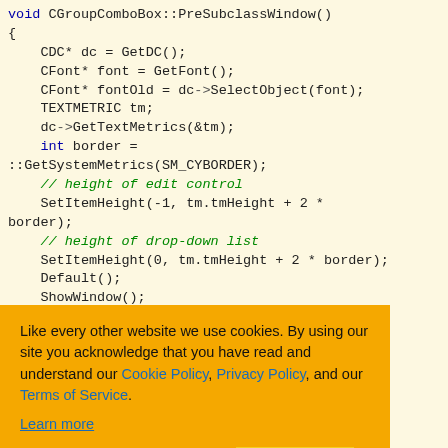void CGroupComboBox::PreSubclassWindow()
{
    CDC* dc = GetDC();
    CFont* font = GetFont();
    CFont* fontOld = dc->SelectObject(font);
    TEXTMETRIC tm;
    dc->GetTextMetrics(&tm);
    int border = ::GetSystemMetrics(SM_CYBORDER);
    // height of edit control
    SetItemHeight(-1, tm.tmHeight + 2 * border);
    // height of drop-down list
    SetItemHeight(0, tm.tmHeight + 2 * border);
    Default();
    ShowWindow();
[Figure (screenshot): Cookie consent overlay with orange background. Text: 'Like every other website we use cookies. By using our site you acknowledge that you have read and understand our Cookie Policy, Privacy Policy, and our Terms of Service. Learn more'. Buttons: 'Ask me later', 'Decline', 'Allow cookies'.]
archy
in order to make adding various items in the combo box